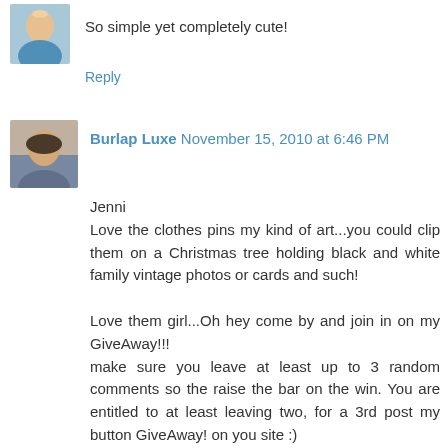So simple yet completely cute!
Reply
Burlap Luxe  November 15, 2010 at 6:46 PM
Jenni
Love the clothes pins my kind of art...you could clip them on a Christmas tree holding black and white family vintage photos or cards and such!

Love them girl...Oh hey come by and join in on my GiveAway!!!
make sure you leave at least up to 3 random comments so the raise the bar on the win. You are entitled to at least leaving two, for a 3rd post my button GiveAway! on you site :)

Leave one here and their and maybe the random number counter will pick one of your comment spots.

xx